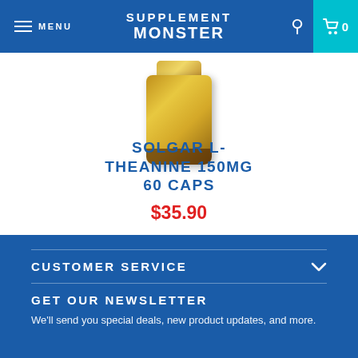MENU | SUPPLEMENT MONSTER | 0
[Figure (photo): Gold supplement bottle (Solgar L-Theanine) partially visible from above]
SOLGAR L-THEANINE 150MG 60 CAPS
$35.90
CUSTOMER SERVICE
GET OUR NEWSLETTER
We'll send you special deals, new product updates, and more.